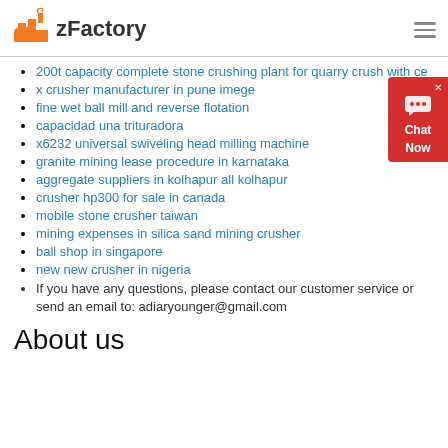zFactory
200t capacity complete stone crushing plant for quarry crush with ce
x crusher manufacturer in pune imege
fine wet ball mill and reverse flotation
capacidad una trituradora
x6232 universal swiveling head milling machine
granite mining lease procedure in karnataka
aggregate suppliers in kolhapur all kolhapur
crusher hp300 for sale in canada
mobile stone crusher taiwan
mining expenses in silica sand mining crusher
ball shop in singapore
new new crusher in nigeria
If you have any questions, please contact our customer service or send an email to: adiaryounger@gmail.com
About us